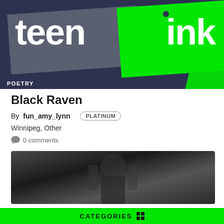[Figure (logo): Teen Ink magazine logo banner with dark navy background, green rectangle, bold white text 'teen' and 'ink', with POETRY category tag in bottom left]
Black Raven
By fun_amy_lynn PLATINUM
Winnipeg, Other
0 comments
[Figure (photo): Black and white photo of a person in dark clothing]
CATEGORIES